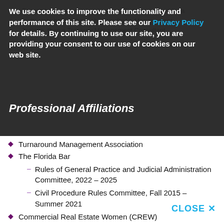Prior to beginning her legal career, Siobhan worked for a multi-state bank, where she was first a Management Trainee, then a Treasury Management Consultant.
We use cookies to improve the functionality and performance of this site. Please see our Privacy Policy for details. By continuing to use our site, you are providing your consent to our use of cookies on our web site.
Professional Affiliations
Turnaround Management Association
The Florida Bar
Rules of General Practice and Judicial Administration Committee, 2022 – 2025
Civil Procedure Rules Committee, Fall 2015 – Summer 2021
Commercial Real Estate Women (CREW)
Honors & Awards
University of Miami School of Law
Dean's Merit Scholarship